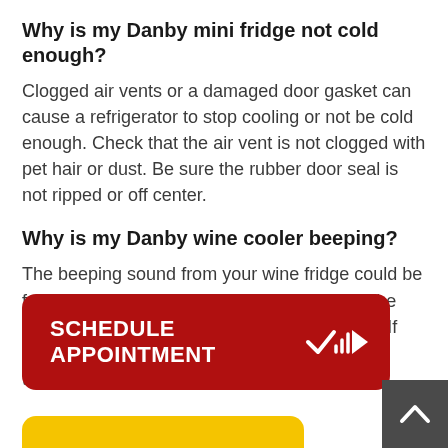Why is my Danby mini fridge not cold enough?
Clogged air vents or a damaged door gasket can cause a refrigerator to stop cooling or not be cold enough. Check that the air vent is not clogged with pet hair or dust. Be sure the rubber door seal is not ripped or off center.
Why is my Danby wine cooler beeping?
The beeping sound from your wine fridge could be from a small glitch in the processor. Unplug the cord for a minute or two, then plug it back on. If your wine fridge keeps beeping , call in a technician.
[Figure (other): Red rounded button with white text reading SCHEDULE APPOINTMENT and a white checkmark/arrow icon]
[Figure (other): Gray square scroll-to-top button with white upward chevron arrow]
[Figure (other): Yellow rounded button partially visible at bottom of page]